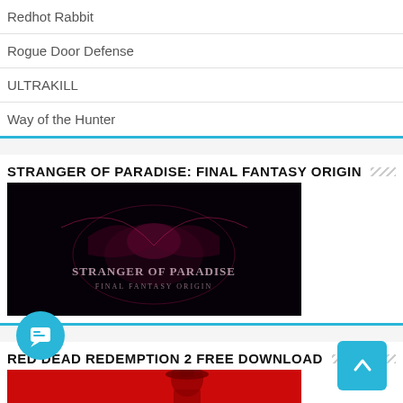Redhot Rabbit
Rogue Door Defense
ULTRAKILL
Way of the Hunter
STRANGER OF PARADISE: FINAL FANTASY ORIGIN
[Figure (photo): Dark promotional image with stylized text 'Stranger of Paradise Final Fantasy Origin' on black background with pink/purple glowing effects]
RED DEAD REDEMPTION 2 FREE DOWNLOAD
[Figure (photo): Red Dead Redemption 2 promotional image with red background and partial game logo/silhouette visible]